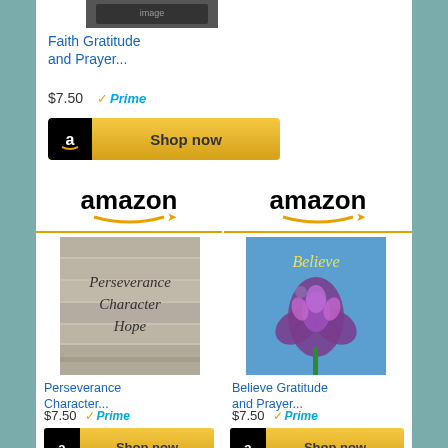[Figure (screenshot): Amazon product listing for Faith Gratitude and Prayer book, $7.50 with Prime, Shop now button]
Faith Gratitude and Prayer...
$7.50 Prime
[Figure (screenshot): Amazon logo header with orange arrow]
[Figure (photo): Book cover: Perseverance Character Hope on wooden background]
Perseverance Character...
$7.50 Prime
Shop now
[Figure (screenshot): Amazon logo header with orange arrow]
[Figure (photo): Book cover: Believe with iris flower on blue background]
Believe Gratitude and Prayer...
$7.50 Prime
Shop now
[Figure (screenshot): Amazon logo header with orange arrow, partially visible at bottom]